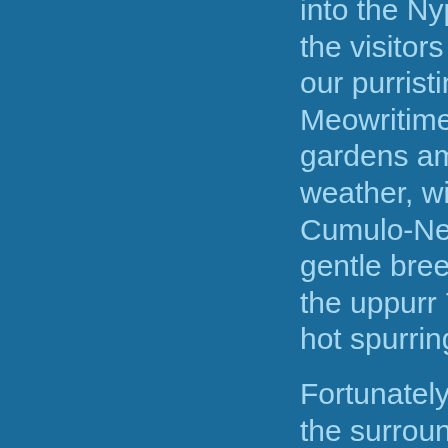into the Nypurr-ative, nya! As more the visitors flock to here to purrtake our purristine Mid-Atlantic beaches, Meowritime Forest, and the lovely gardens amidst the purrpetual bikini weather, with the blue skies full of p Cumulo-Neko clouds, the low humidity gentle breezes, and tempurratures in the uppurr 70's (but much hotter in the hot spurrings), nya!
Fortunately here at Catgirl island and the surrounding OBX waters of Mew Hanover County NC, we are blessed with the benevolent magick in the air, land and water that aids in the purropurrgation of the endangered species, whilst warding away storm pathogens, pollutions, bigotries, and hazardous invasive species, although the anglers and restauranteurs have...